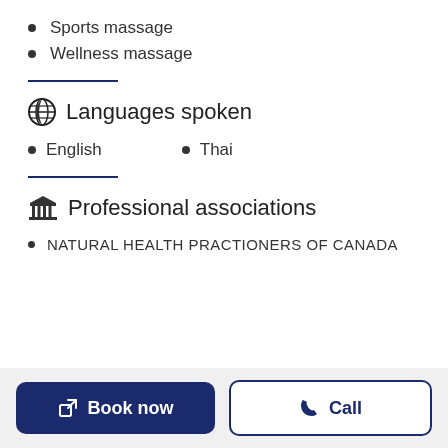Sports massage
Wellness massage
Languages spoken
English
Thai
Professional associations
NATURAL HEALTH PRACTIONERS OF CANADA